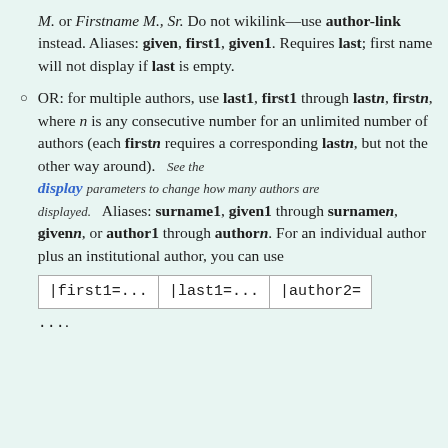M. or Firstname M., Sr. Do not wikilink—use author-link instead. Aliases: given, first1, given1. Requires last; first name will not display if last is empty.
OR: for multiple authors, use last1, first1 through lastn, firstn, where n is any consecutive number for an unlimited number of authors (each firstn requires a corresponding lastn, but not the other way around).   See the display parameters to change how many authors are displayed.  Aliases: surname1, given1 through surnamen, givenn, or author1 through authorn. For an individual author plus an institutional author, you can use |first1=... |last1=... |author2= ...
| |first1=... | |last1=... | |author2= |